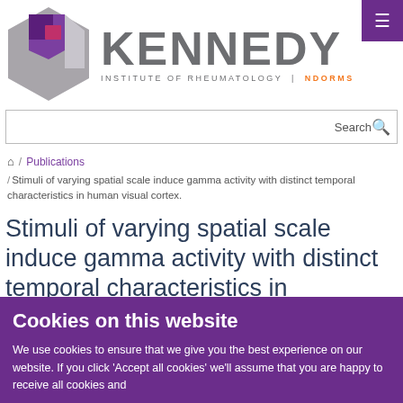[Figure (logo): Kennedy Institute of Rheumatology NDORMS logo with hexagonal purple/grey shape and grey KENNEDY text]
Search
/ Publications / Stimuli of varying spatial scale induce gamma activity with distinct temporal characteristics in human visual cortex.
Stimuli of varying spatial scale induce gamma activity with distinct temporal characteristics in
Cookies on this website
We use cookies to ensure that we give you the best experience on our website. If you click 'Accept all cookies' we'll assume that you are happy to receive all cookies and